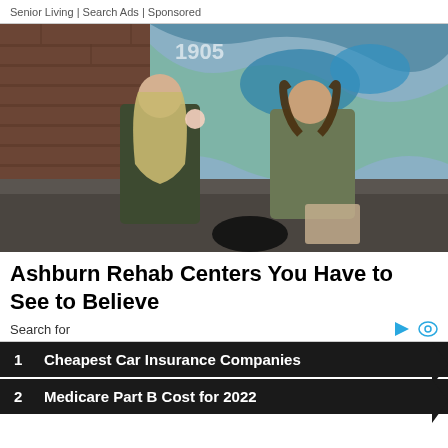Senior Living | Search Ads | Sponsored
[Figure (photo): Two young women sitting on steps in front of a graffiti wall, one with long blonde hair holding an ice cream cone, one with curly dark hair eating something, both wearing green/camo jackets]
Ashburn Rehab Centers You Have to See to Believe
Search for
1  Cheapest Car Insurance Companies
2  Medicare Part B Cost for 2022